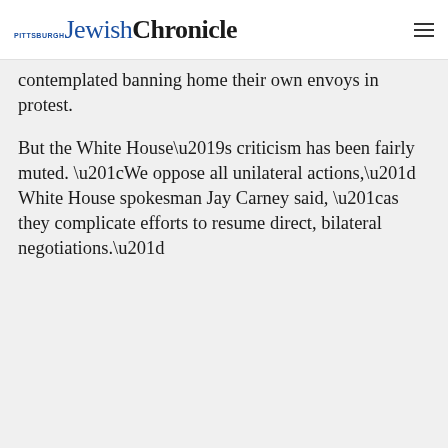Pittsburgh Jewish Chronicle
contemplated banning home their own envoys in protest.
But the White House’s criticism has been fairly muted. “We oppose all unilateral actions,” White House spokesman Jay Carney said, “as they complicate efforts to resume direct, bilateral negotiations.”